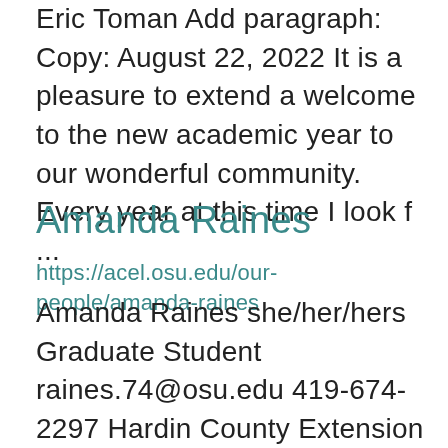Eric Toman Add paragraph: Copy: August 22, 2022 It is a pleasure to extend a welcome to the new academic year to our wonderful community. Every year at this time I look f ...
Amanda Raines
https://acel.osu.edu/our-people/amanda-raines
Amanda Raines she/her/hers Graduate Student raines.74@osu.edu 419-674-2297 Hardin County Extension Office 1021 West Lima Street, Suite 103, Kenton, Ohio 43326 B.A., 2011, Ohio Northern University, Broadcasting & Electronic Media M.S., 2017, The Ohio S